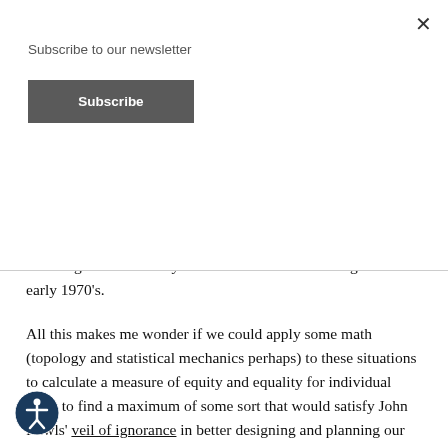Subscribe to our newsletter
Subscribe
better. Most people probably don't realize it, but we're still suffering from the heavy effects of racism and busing from the early 1970's.
All this makes me wonder if we could apply some math (topology and statistical mechanics perhaps) to these situations to calculate a measure of equity and equality for individual areas to find a maximum of some sort that would satisfy John Rawls' veil of ignorance in better designing and planning our communities. Perhaps the